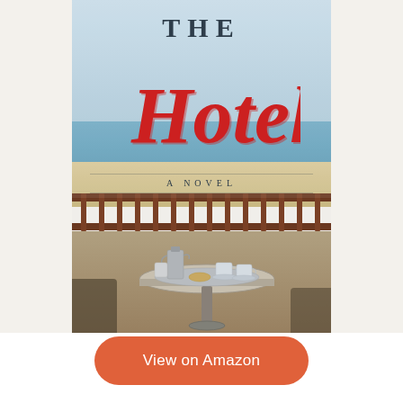[Figure (illustration): Book cover for 'The Hotel: A Novel' showing a beachside hotel balcony scene with a round table set with coffee/tea service, overlooking a sandy beach and ocean. Title text 'THE Hotel' in large decorative script and 'A NOVEL' subtitle overlaid on the image.]
THE Hotel A NOVEL
[Figure (other): Orange rounded rectangle button reading 'View on Amazon']